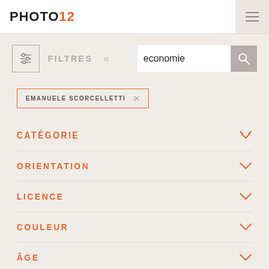PHOTO12
FILTRES
economie
EMANUELE SCORCELLETTI
CATÉGORIE
ORIENTATION
LICENCE
COULEUR
ÂGE